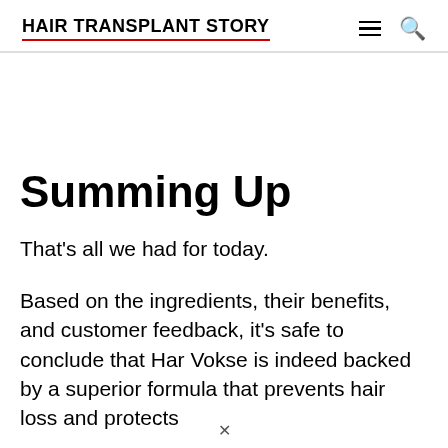HAIR TRANSPLANT STORY
Summing Up
That's all we had for today.
Based on the ingredients, their benefits, and customer feedback, it's safe to conclude that Har Vokse is indeed backed by a superior formula that prevents hair loss and protects